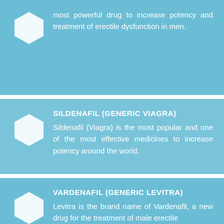most powerful drug to increase potency and treatment of erectile dysfunction in men.
[Figure (illustration): White hexagon icon on light blue background]
SILDENAFIL (GENERIC VIAGRA)
Sildenafil (Viagra) is the most popular and one of the most effective medicines to increase potency around the world.
[Figure (illustration): White hexagon icon on light blue background]
VARDENAFIL (GENERIC LEVITRA)
Levitra is the brand name of Vardenafil, a new drug for the treatment of male erectile